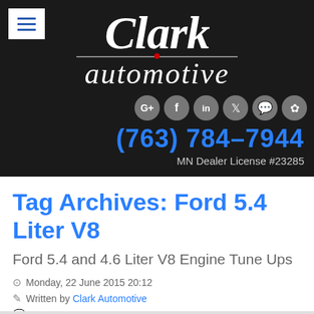Clark Automotive | (763) 784-7944 | MN Dealer License #23285
Tag Archives: Ford 5.4 Liter V8
Ford 5.4 and 4.6 Liter V8 Engine Tune Ups
Monday, 22 June 2015 20:12
Written by Clark Automotive
0 Comments